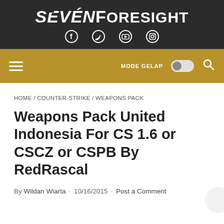SEVENFORESIGHT
[Figure (logo): SevenForesight logo with social media icons (Facebook, Twitter, YouTube, Instagram) on dark background]
[Figure (other): Gold navigation bar with hamburger menu, MODE GELAP toggle, and search icon]
HOME / COUNTER-STRIKE / WEAPONS PACK
Weapons Pack United Indonesia For CS 1.6 or CSCZ or CSPB By RedRascal
By Wildan Wiarta · 10/16/2015 · Post a Comment